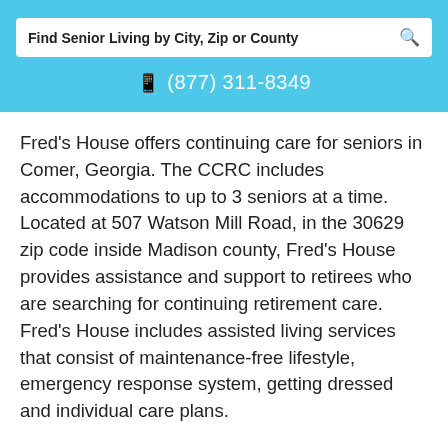Find Senior Living by City, Zip or County
(877) 311-8349
Fred's House offers continuing care for seniors in Comer, Georgia. The CCRC includes accommodations to up to 3 seniors at a time. Located at 507 Watson Mill Road, in the 30629 zip code inside Madison county, Fred's House provides assistance and support to retirees who are searching for continuing retirement care. Fred's House includes assisted living services that consist of maintenance-free lifestyle, emergency response system, getting dressed and individual care plans.
(877) 369-9195